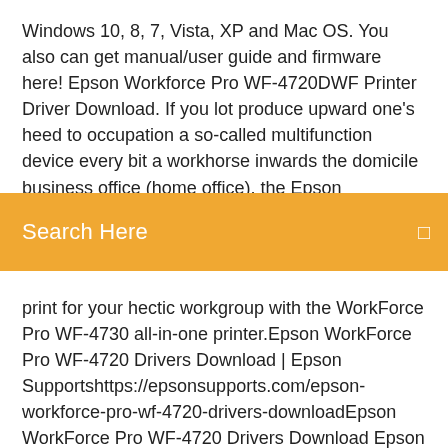Windows 10, 8, 7, Vista, XP and Mac OS. You also can get manual/user guide and firmware here! Epson Workforce Pro WF-4720DWF Printer Driver Download. If you lot produce upward one's heed to occupation a so-called multifunction device every bit a workhorse inwards the domicile business office (home office), the Epson WorkForce Pro WF… Epson WF-4720 Driver
Search Here
print for your hectic workgroup with the WorkForce Pro WF-4730 all-in-one printer.Epson WorkForce Pro WF-4720 Drivers Download | Epson Supportshttps://epsonsupports.com/epson-workforce-pro-wf-4720-drivers-downloadEpson WorkForce Pro WF-4720 Drivers Download Epson WorkForce Pro WF-4720 Drivers Download Windows 32-bit/ 64-bit Mac Os X OS X Linux Epson WorkForce Pro WF-4720 Drivers Download for Windows 32-bit/...